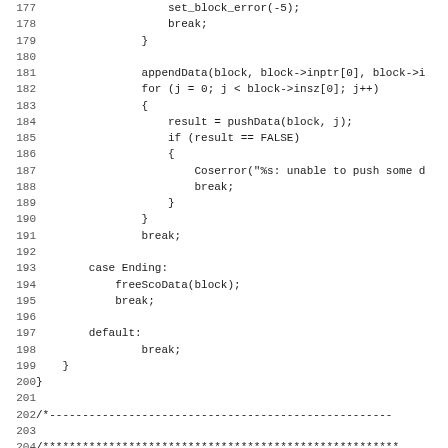Source code listing, lines 177-208, showing C code with a switch statement handling cases including appendData, pushData, case Ending with freeScoData, default break, closing braces, and a comment block for Container management.